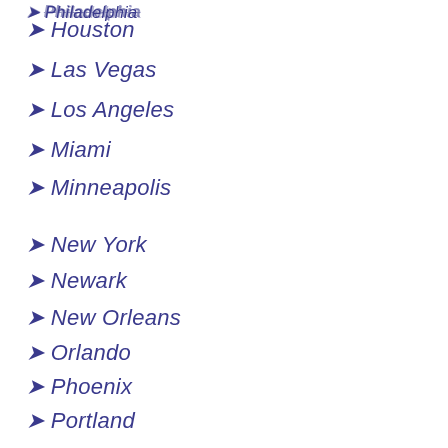➤ Houston
➤ Las Vegas
➤ Los Angeles
➤ Miami
➤ Minneapolis
➤ New York
➤ Newark
➤ New Orleans
➤ Orlando
➤ Phoenix
➤ Portland
➤ Philadelphia
➤ Reno
➤ Saint Petersburg
➤ Salt Lake City